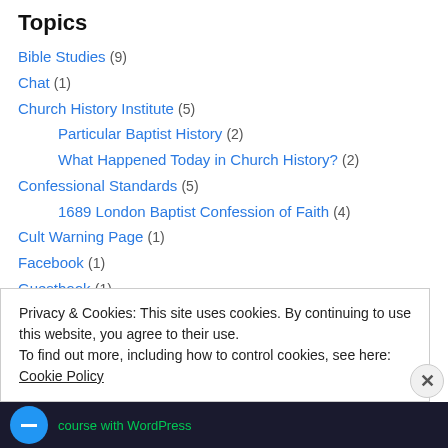Topics
Bible Studies (9)
Chat (1)
Church History Institute (5)
Particular Baptist History (2)
What Happened Today in Church History? (2)
Confessional Standards (5)
1689 London Baptist Confession of Faith (4)
Cult Warning Page (1)
Facebook (1)
Guestbook (1)
Kevin's Portal (8)
kevinswilderness.com (1)
Privacy & Cookies: This site uses cookies. By continuing to use this website, you agree to their use.
To find out more, including how to control cookies, see here: Cookie Policy
Close and accept